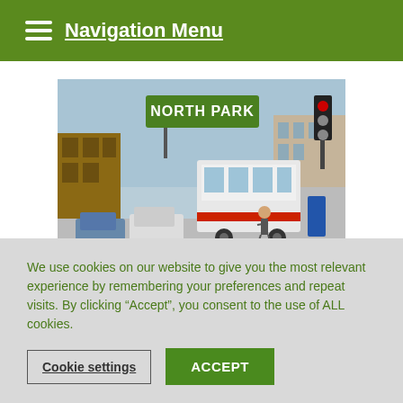Navigation Menu
[Figure (photo): Street-level photo of North Park neighborhood intersection with a transit bus and pedestrian crossing, street sign reading NORTH PARK visible overhead]
We use cookies on our website to give you the most relevant experience by remembering your preferences and repeat visits. By clicking “Accept”, you consent to the use of ALL cookies.
Cookie settings   ACCEPT